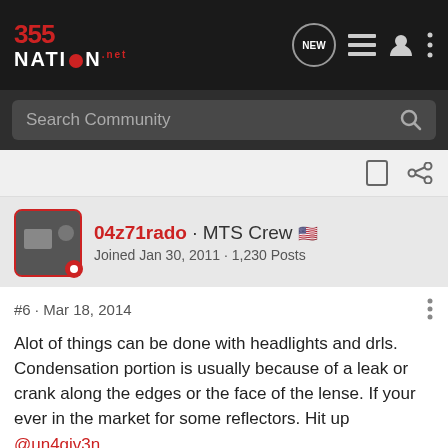355 NATION
Search Community
04z71rado · MTS Crew
Joined Jan 30, 2011 · 1,230 Posts
#6 · Mar 18, 2014
Alot of things can be done with headlights and drls. Condensation portion is usually because of a leak or crank along the edges or the face of the lense. If your ever in the market for some reflectors. Hit up @un4giv3n
Sent from AutoGuide.com Free App
Attachments